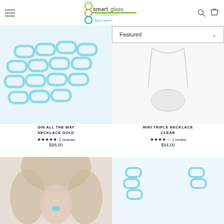smartglass recycled jewelry — drink it. wear it. — navigation header with logo, search, and cart icons
[Figure (screenshot): Sort dropdown showing 'Featured' with chevron down]
[Figure (photo): Gin All The Way Necklace Gold — light blue chain-link necklace on white background]
GIN ALL THE WAY NECKLACE GOLD
★★★★★ 2 reviews
$98.00
[Figure (photo): Mini Triple Necklace Clear — clear pendant necklace on white background]
MINI TRIPLE NECKLACE CLEAR
★★★★☆ 1 review
$64.00
[Figure (photo): Woman wearing a small blue pendant necklace, blonde hair, white background]
[Figure (photo): Light blue chain-link bracelets or small necklaces on white background]